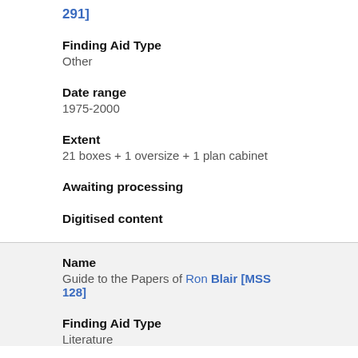291]
Finding Aid Type
Other
Date range
1975-2000
Extent
21 boxes + 1 oversize + 1 plan cabinet
Awaiting processing
Digitised content
Name
Guide to the Papers of Ron Blair [MSS 128]
Finding Aid Type
Literature